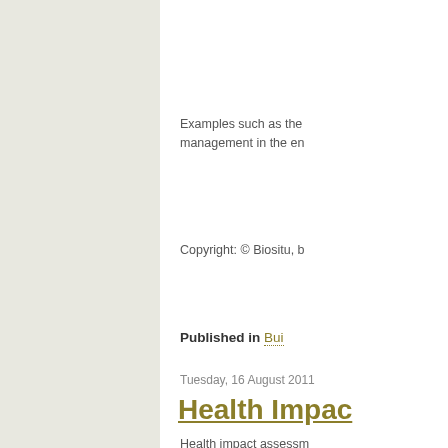[Figure (photo): Light grey/beige rectangular image panel on the left side of the page]
Examples such as the management in the en
Copyright: © Biositu, b
Published in  Bui
Tuesday, 16 August 2011
Health Impac
Health impact assessm emerged over the pas tool to provide evidenc recommendations to o community planning o health and